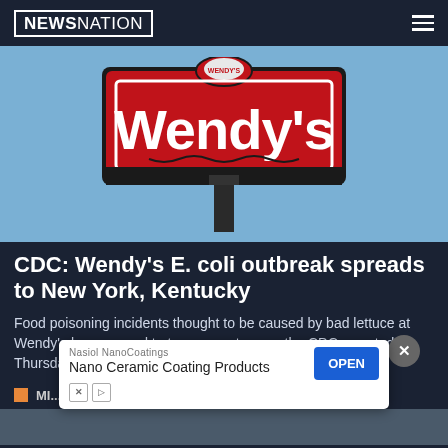NEWSNATION
[Figure (photo): Wendy's restaurant sign against blue sky background]
CDC: Wendy's E. coli outbreak spreads to New York, Kentucky
Food poisoning incidents thought to be caused by bad lettuce at Wendy's have spread to two more states, the CDC reported Thursday.
[Figure (other): Advertisement: Nasiol NanoCoatings - Nano Ceramic Coating Products with OPEN button and close X button]
MI...
[Figure (photo): Partial image at bottom of page]